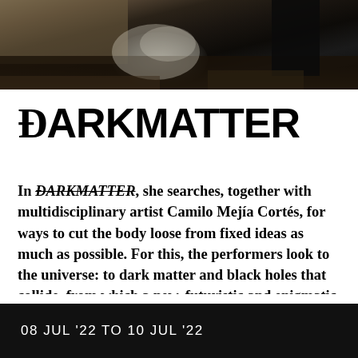[Figure (photo): Dark atmospheric photo showing a smoky, dimly lit scene with a figure silhouetted against dark ruins or rubble, with smoke rising in the center.]
ÐARKMATTER
In ÐARKMATTER, she searches, together with multidisciplinary artist Camilo Mejía Cortés, for ways to cut the body loose from fixed ideas as much as possible. For this, the performers look to the universe: to dark matter and black holes that collide, from which a new, futuristic and enigmatic body can emerge. Menzo draws inspiration from
08 JUL '22 TO 10 JUL '22